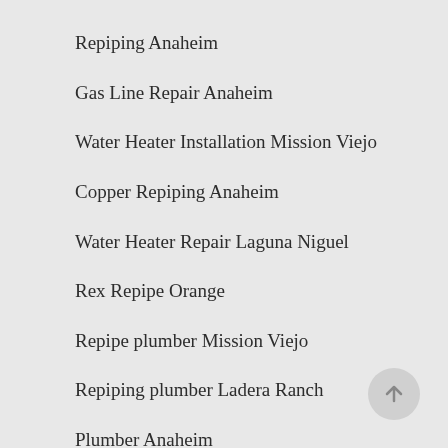Repiping Anaheim
Gas Line Repair Anaheim
Water Heater Installation Mission Viejo
Copper Repiping Anaheim
Water Heater Repair Laguna Niguel
Rex Repipe Orange
Repipe plumber Mission Viejo
Repiping plumber Ladera Ranch
Plumber Anaheim